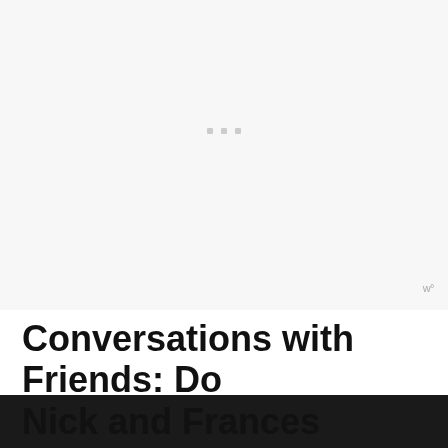[Figure (other): Light gray background area with three small gray square dots in the center, and a small watermark logo in the bottom right corner reading w°]
Conversations with Friends: Do Nick and Frances End Up Together?